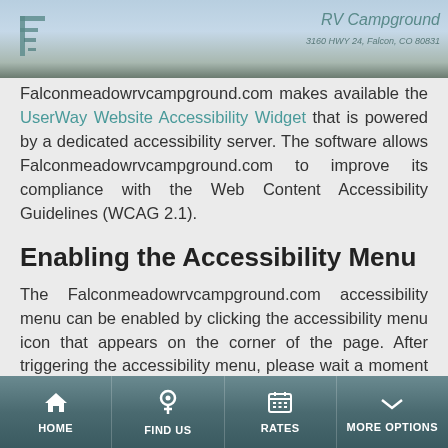[Figure (photo): Website header with mountain landscape background, campground logo on the left, and RV Campground text on the right]
Falconmeadowrvcampground.com makes available the UserWay Website Accessibility Widget that is powered by a dedicated accessibility server. The software allows Falconmeadowrvcampground.com to improve its compliance with the Web Content Accessibility Guidelines (WCAG 2.1).
Enabling the Accessibility Menu
The Falconmeadowrvcampground.com accessibility menu can be enabled by clicking the accessibility menu icon that appears on the corner of the page. After triggering the accessibility menu, please wait a moment for the accessibility menu to load in its entirety.
Disclaimer
Falconmeadowrvcampground.com continues its efforts to
HOME | FIND US | RATES | MORE OPTIONS